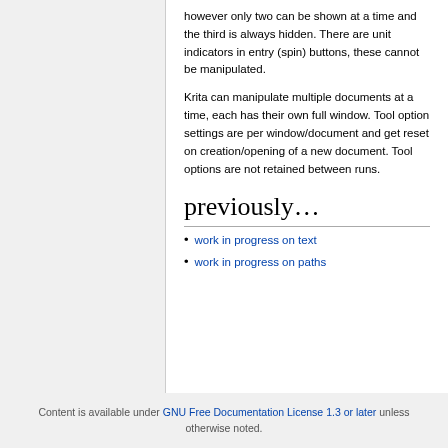however only two can be shown at a time and the third is always hidden. There are unit indicators in entry (spin) buttons, these cannot be manipulated.
Krita can manipulate multiple documents at a time, each has their own full window. Tool option settings are per window/document and get reset on creation/opening of a new document. Tool options are not retained between runs.
previously…
work in progress on text
work in progress on paths
Content is available under GNU Free Documentation License 1.3 or later unless otherwise noted.